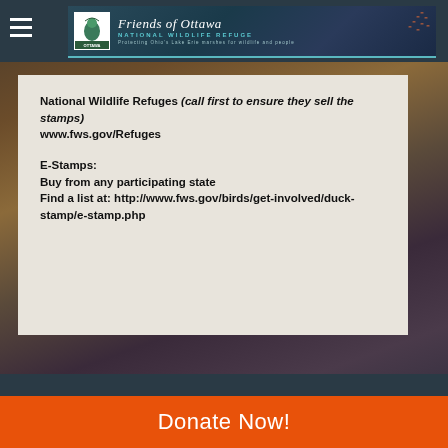[Figure (logo): Friends of Ottawa National Wildlife Refuge logo banner with teal background, white heron/bird icon, script text 'Friends of Ottawa', subtitle 'NATIONAL WILDLIFE REFUGE', and tagline 'Protecting Ohio's Lake Erie marshes for wildlife and people']
[Figure (screenshot): Light beige/tan card with text about where to buy Duck Stamps: National Wildlife Refuges with URL www.fws.gov/Refuges, and E-Stamps section with URL http://www.fws.gov/birds/get-involved/duck-stamp/e-stamp.php]
National Wildlife Refuges (call first to ensure they sell the stamps) www.fws.gov/Refuges

E-Stamps:
Buy from any participating state
Find a list at: http://www.fws.gov/birds/get-involved/duck-stamp/e-stamp.php
Donate Now!